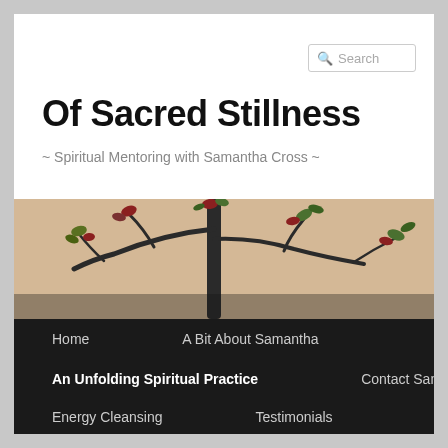Search
Of Sacred Stillness
~ Spiritual Mentoring with Samantha Cross ~
[Figure (photo): Close-up photo of a bonsai-style tree branch with small red and green leaves against a warm beige/tan background]
Home
A Bit About Samantha
An Unfolding Spiritual Practice
Contact Samantha
Energy Cleansing
Testimonials